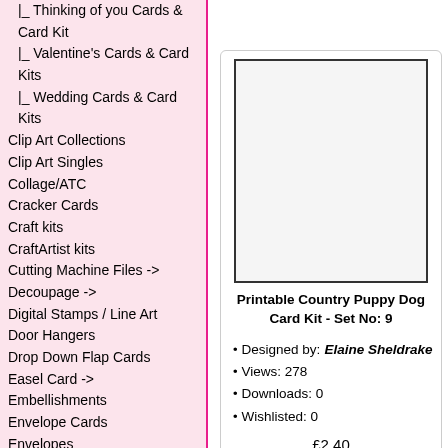|_ Thinking of you Cards & Card Kit
|_ Valentine's Cards & Card Kits
|_ Wedding Cards & Card Kits
Clip Art Collections
Clip Art Singles
Collage/ATC
Cracker Cards
Craft kits
CraftArtist kits
Cutting Machine Files ->
Decoupage ->
Digital Stamps / Line Art
Door Hangers
Drop Down Flap Cards
Easel Card ->
Embellishments
Envelope Cards
Envelopes
Facebook Timeline Covers
Fan/Fan Blades
Foldback Cards
Four Fold Card
Frames
Gatefold Cards
Gift Bags & Boxes ->
Gift Certificates
Gift Voucher/Money Wallets
Handbag/Purse Cards
Lampshades
[Figure (other): Product image placeholder - white rectangle with dark border]
Printable Country Puppy Dog Card Kit - Set No: 9
Designed by: Elaine Sheldrake
Views: 278
Downloads: 0
Wishlisted: 0
£2.40